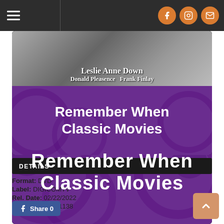[Figure (screenshot): Website navigation bar with hamburger menu on left and orange social media icons (Facebook, Instagram, email) on right against dark background]
[Figure (photo): Movie promotional banner image showing text 'Leslie Anne Down / Donald Pleasence  Frank Finlay' in white bold text over a black and white photo, and below that a purple background with film reel imagery and text 'Remember When Classic Movies']
DETAILS
Format: DVD
Label: DIGICOMTV
Rel. Date: 02/22/2022
UPC: 793945971138
[Figure (other): Facebook Share button with share count 0]
[Figure (other): Back to top button (orange square with upward arrow)]